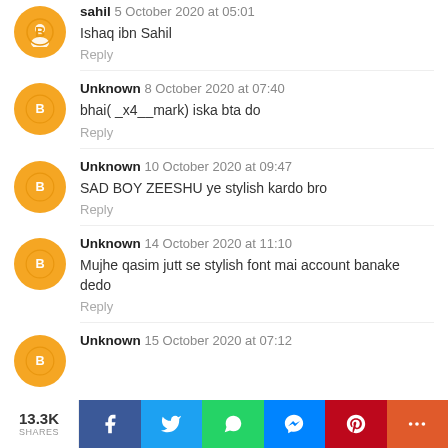sahil 5 October 2020 at 05:01 — Ishaq ibn Sahil — Reply
Unknown 8 October 2020 at 07:40 — bhai( _x4__mark) iska bta do — Reply
Unknown 10 October 2020 at 09:47 — SAD BOY ZEESHU ye stylish kardo bro — Reply
Unknown 14 October 2020 at 11:10 — Mujhe qasim jutt se stylish font mai account banake dedo — Reply
Unknown 15 October 2020 at 07:12
13.3K SHARES — Facebook — Twitter — WhatsApp — Messenger — Pinterest — More